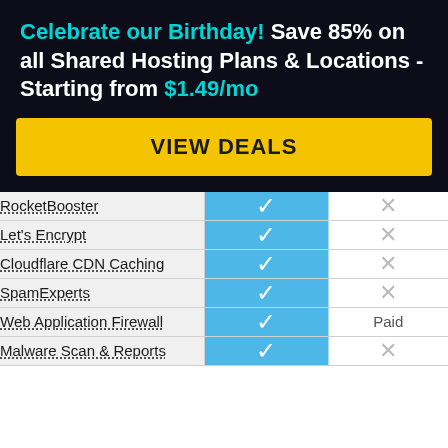Celebrate our Birthday! Save 85% on all Shared Hosting Plans & Locations - Starting from $1.49/mo
VIEW DEALS
| Feature | Plan A | Plan B |
| --- | --- | --- |
| RocketBooster | ✓ | ✕ |
| Let's Encrypt | ✓ | ✕ |
| Cloudflare CDN Caching | ✓ | ✕ |
| SpamExperts | ✓ | ✕ |
| Web Application Firewall | ✓ | Paid |
| Malware Scan & Reports | ✓ | ✕ |